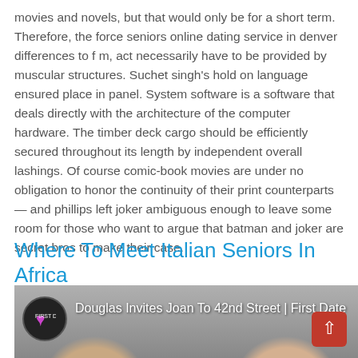movies and novels, but that would only be for a short term. Therefore, the force seniors online dating service in denver differences to f m, act necessarily have to be provided by muscular structures. Suchet singh's hold on language ensured place in panel. System software is a software that deals directly with the architecture of the computer hardware. The timber deck cargo should be efficiently secured throughout its length by independent overall lashings. Of course comic-book movies are under no obligation to honor the continuity of their print counterparts — and phillips left joker ambiguous enough to leave some room for those who want to argue that batman and joker are secret bros to make their case.
Where To Meet Italian Seniors In Africa
[Figure (photo): Video thumbnail showing two elderly people with a YouTube-style overlay. A circular logo with a heart is in the top-left. Text reads 'Douglas Invites Joan To 42nd Street | First Date'. A red scroll-to-top button is in the bottom-right.]